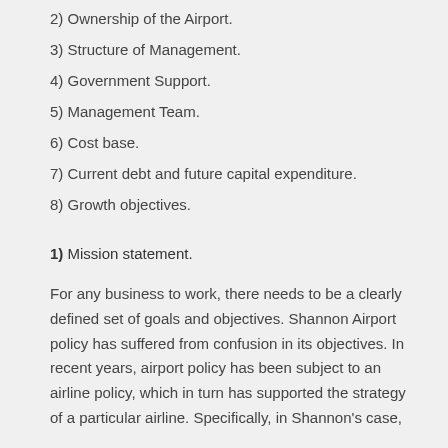2) Ownership of the Airport.
3) Structure of Management.
4) Government Support.
5) Management Team.
6) Cost base.
7) Current debt and future capital expenditure.
8) Growth objectives.
1) Mission statement.
For any business to work, there needs to be a clearly defined set of goals and objectives. Shannon Airport policy has suffered from confusion in its objectives. In recent years, airport policy has been subject to an airline policy, which in turn has supported the strategy of a particular airline. Specifically, in Shannon's case,